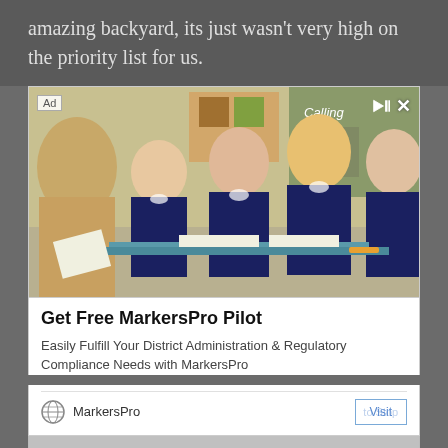amazing backyard, its just wasn't very high on the priority list for us.
[Figure (photo): Advertisement showing a classroom scene with children in school uniforms sitting at desks, appearing to listen to a teacher. Ad label in top-left, close/play controls in top-right.]
Get Free MarkersPro Pilot
Easily Fulfill Your District Administration & Regulatory Compliance Needs with MarkersPro
MarkersPro
Visit Stop